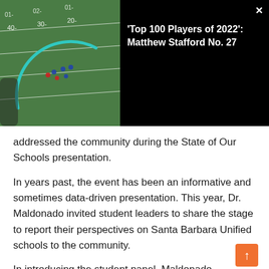[Figure (screenshot): Video thumbnail showing aerial view of a football field with players and a teal arc overlay, beside a black panel with video title 'Top 100 Players of 2022': Matthew Stafford No. 27 and an X close button]
addressed the community during the State of Our Schools presentation.
In years past, the event has been an informative and sometimes data-driven presentation. This year, Dr. Maldonado invited student leaders to share the stage to report their perspectives on Santa Barbara Unified schools to the community.
In introducing the student panel, Maldonado explained, “I would be remiss if I didn’t do this in collaboration with who I work for. And that is why I have students with me today.” She then quipped, “I have all these bosses. I have 13,000, today, I only brought five!”
But aside from the joking, Maldonado started by looking at